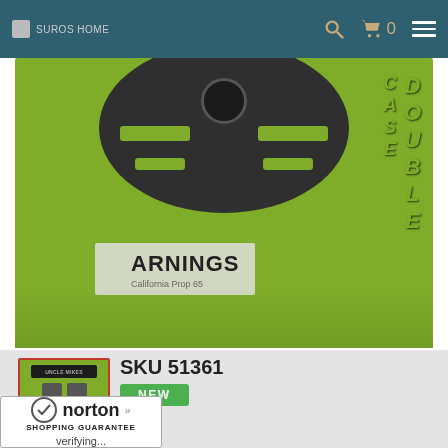SUROS HOME  [search icon] [cart icon] 0 [menu icon]
[Figure (photo): Product photo: double magazine case in green packaging showing dark holster mount and 'DOUBLE CASE' text with WARNINGS label]
[Figure (photo): Thumbnail of double magazine case product in green packaging]
SKU 51361
NEW
[Figure (logo): Norton Shopping Guarantee badge with checkmark, verifying...]